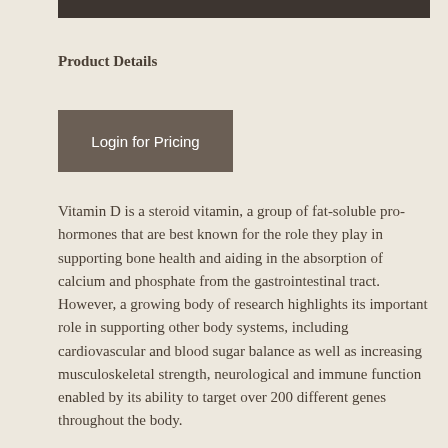Product Details
Login for Pricing
Vitamin D is a steroid vitamin, a group of fat-soluble pro-hormones that are best known for the role they play in supporting bone health and aiding in the absorption of calcium and phosphate from the gastrointestinal tract. However, a growing body of research highlights its important role in supporting other body systems, including cardiovascular and blood sugar balance as well as increasing musculoskeletal strength, neurological and immune function enabled by its ability to target over 200 different genes throughout the body.